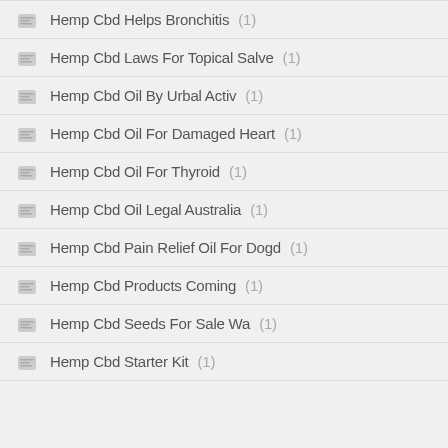Hemp Cbd Helps Bronchitis (1)
Hemp Cbd Laws For Topical Salve (1)
Hemp Cbd Oil By Urbal Activ (1)
Hemp Cbd Oil For Damaged Heart (1)
Hemp Cbd Oil For Thyroid (1)
Hemp Cbd Oil Legal Australia (1)
Hemp Cbd Pain Relief Oil For Dogd (1)
Hemp Cbd Products Coming (1)
Hemp Cbd Seeds For Sale Wa (1)
Hemp Cbd Starter Kit (1)